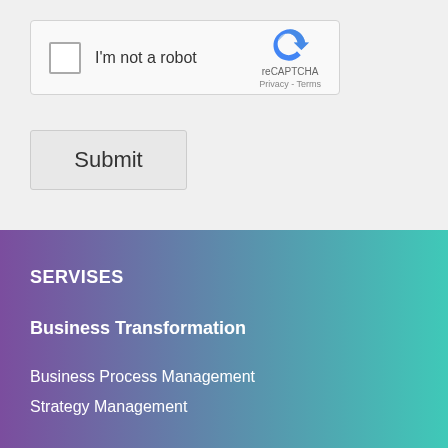[Figure (screenshot): reCAPTCHA checkbox widget with 'I'm not a robot' label, reCAPTCHA logo, Privacy and Terms links]
Submit
SERVISES
Business Transformation
Business Process Management
Strategy Management